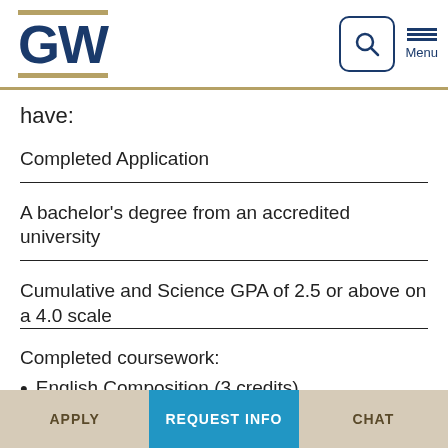GW
have:
Completed Application
A bachelor's degree from an accredited university
Cumulative and Science GPA of 2.5 or above on a 4.0 scale
Completed coursework:
• English Composition (3 credits)
• College Algebra, Statistics, or higher (3 credits)
APPLY | REQUEST INFO | CHAT